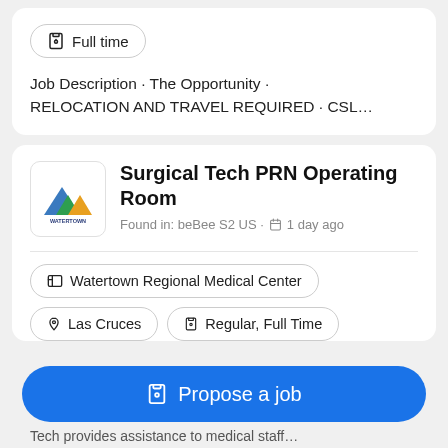Full time
Job Description · The Opportunity · RELOCATION AND TRAVEL REQUIRED · CSL...
Surgical Tech PRN Operating Room
Found in: beBee S2 US · 1 day ago
Watertown Regional Medical Center
Las Cruces
Regular, Full Time
Propose a job
Tech provides assistance to medical staff...